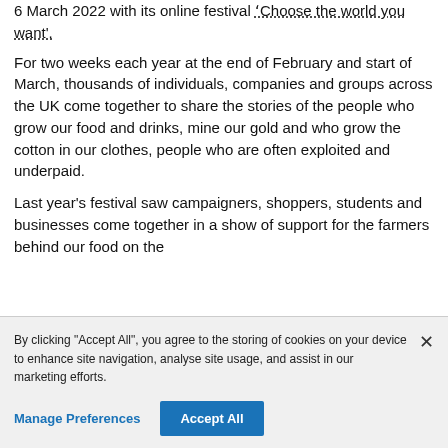6 March 2022 with its online festival 'Choose the world you want'.
For two weeks each year at the end of February and start of March, thousands of individuals, companies and groups across the UK come together to share the stories of the people who grow our food and drinks, mine our gold and who grow the cotton in our clothes, people who are often exploited and underpaid.
Last year's festival saw campaigners, shoppers, students and businesses come together in a show of support for the farmers behind our food on the
By clicking "Accept All", you agree to the storing of cookies on your device to enhance site navigation, analyse site usage, and assist in our marketing efforts.